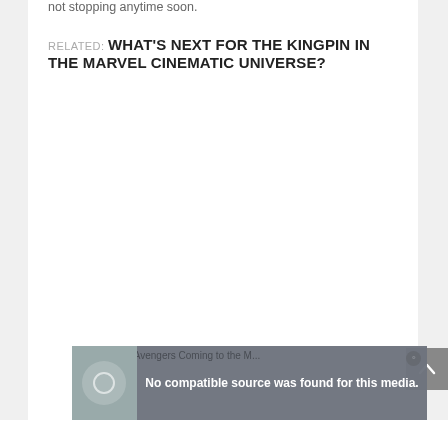not stopping anytime soon.
RELATED: WHAT'S NEXT FOR THE KINGPIN IN THE MARVEL CINEMATIC UNIVERSE?
[Figure (screenshot): Video overlay showing 'West Coast Avengers Coming to the M...' with message 'No compatible source was found for this media.' and a close button]
[Figure (screenshot): Back to top arrow button in grey]